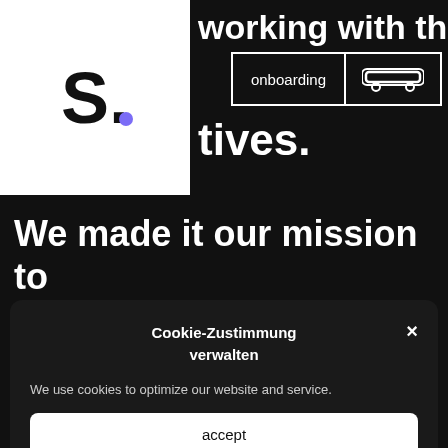[Figure (logo): Letter S with purple dot logo in white box]
working with the leading
tives.
[Figure (screenshot): Navigation buttons: 'onboarding' text button and skateboard icon button, both in white border]
We made it our mission to
Cookie-Zustimmung verwalten
We use cookies to optimize our website and service.
accept
Ablehnen
Cookie-Richtlinie   privacy policy   legal notice